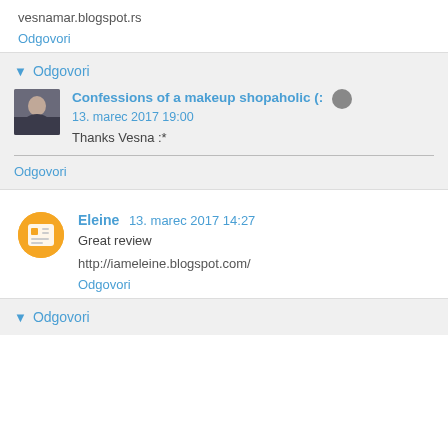vesnamar.blogspot.rs
Odgovori
▾ Odgovori
Confessions of a makeup shopaholic (: 13. marec 2017 19:00
Thanks Vesna :*
Odgovori
Eleine 13. marec 2017 14:27
Great review
http://iameleine.blogspot.com/
Odgovori
▾ Odgovori